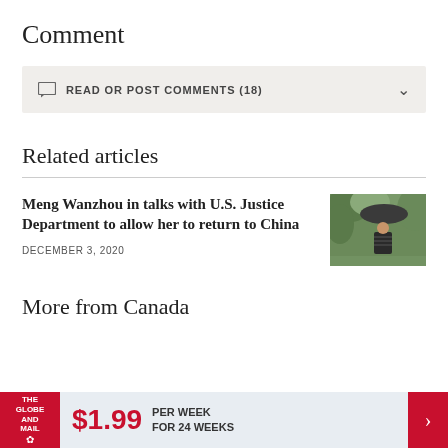Comment
READ OR POST COMMENTS (18)
Related articles
Meng Wanzhou in talks with U.S. Justice Department to allow her to return to China
DECEMBER 3, 2020
[Figure (photo): Woman standing under umbrella outdoors with green foliage background]
More from Canada
$1.99 PER WEEK FOR 24 WEEKS